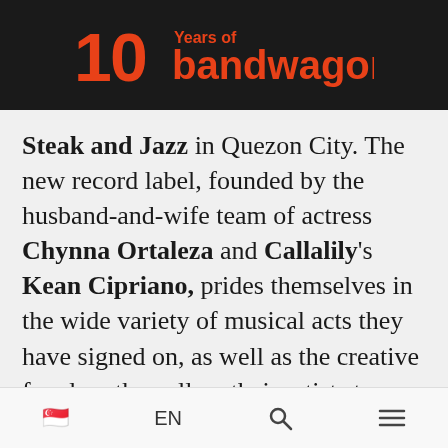10 Years of bandwagon
Steak and Jazz in Quezon City. The new record label, founded by the husband-and-wife team of actress Chynna Ortaleza and Callalily's Kean Cipriano, prides themselves in the wide variety of musical acts they have signed on, as well as the creative freedom they allow their artists to have.
Cipriano shared that everything they're doing in the label is to contribute to the music industry and to champion Filipino
🇸🇬  EN  🔍  ☰